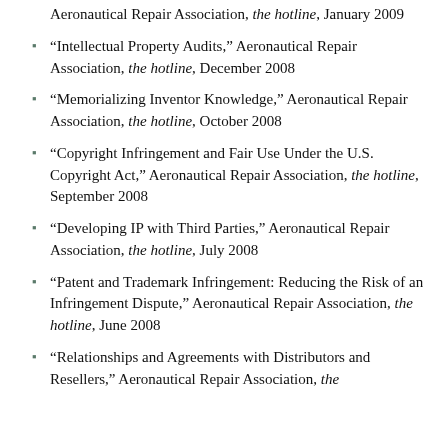Aeronautical Repair Association, the hotline, January 2009
“Intellectual Property Audits,” Aeronautical Repair Association, the hotline, December 2008
“Memorializing Inventor Knowledge,” Aeronautical Repair Association, the hotline, October 2008
“Copyright Infringement and Fair Use Under the U.S. Copyright Act,” Aeronautical Repair Association, the hotline, September 2008
“Developing IP with Third Parties,” Aeronautical Repair Association, the hotline, July 2008
“Patent and Trademark Infringement: Reducing the Risk of an Infringement Dispute,” Aeronautical Repair Association, the hotline, June 2008
“Relationships and Agreements with Distributors and Resellers,” Aeronautical Repair Association, the